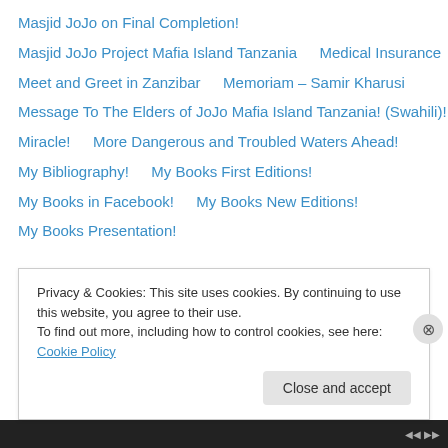Masjid JoJo on Final Completion!
Masjid JoJo Project Mafia Island Tanzania
Medical Insurance
Meet and Greet in Zanzibar
Memoriam – Samir Kharusi
Message To The Elders of JoJo Mafia Island Tanzania! (Swahili)!
Miracle!
More Dangerous and Troubled Waters Ahead!
My Bibliography!
My Books First Editions!
My Books in Facebook!
My Books New Editions!
My Books Presentation!
Privacy & Cookies: This site uses cookies. By continuing to use this website, you agree to their use.
To find out more, including how to control cookies, see here: Cookie Policy
Close and accept